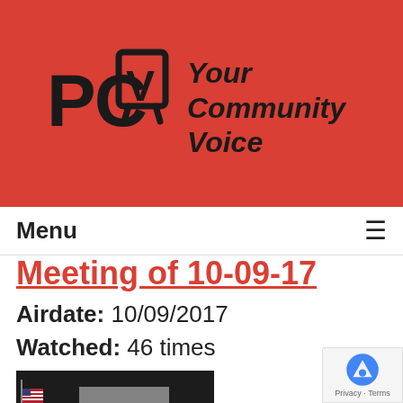PCTV Your Community Voice
Menu
Meeting of 10-09-17
Airdate: 10/09/2017
Watched: 46 times
[Figure (photo): Thumbnail screenshot of a village board meeting with people seated at a table in front of an American flag]
The Village Board Meeting of 09-25-17